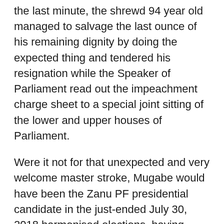the last minute, the shrewd 94 year old managed to salvage the last ounce of his remaining dignity by doing the expected thing and tendered his resignation while the Speaker of Parliament read out the impeachment charge sheet to a special joint sitting of the lower and upper houses of Parliament.
Were it not for that unexpected and very welcome master stroke, Mugabe would have been the Zanu PF presidential candidate in the just-ended July 30, 2018 harmonised elections, having been endorsed as the party candidate by all 10 provinces in rather bizarre and comical scenes, as they all lined up to support the nonagenarian. Mugabe, being who he is, it remains anybody's guess what would have happened if his name had been on that ballot.
In Kenya, the political space was opened up by Constitution No 13, which repealed the one-party State clause, paving the